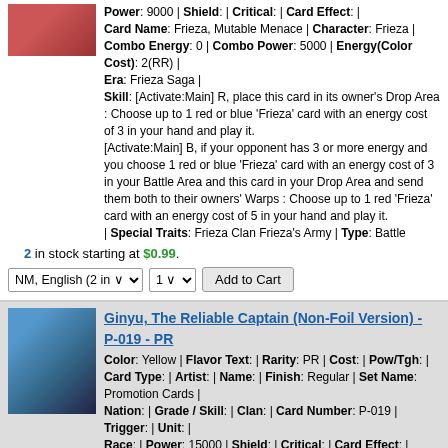Power: 9000 | Shield: | Critical: | Card Effect: | Card Name: Frieza, Mutable Menace | Character: Frieza | Combo Energy: 0 | Combo Power: 5000 | Energy(Color Cost): 2(RR) | Era: Frieza Saga | Skill: [Activate:Main] R, place this card in its owner's Drop Area : Choose up to 1 red or blue 'Frieza' card with an energy cost of 3 in your hand and play it. [Activate:Main] B, if your opponent has 3 or more energy and you choose 1 red or blue 'Frieza' card with an energy cost of 3 in your Battle Area and this card in your Drop Area and send them both to their owners' Warps : Choose up to 1 red 'Frieza' card with an energy cost of 5 in your hand and play it. | Special Traits: Frieza Clan Frieza's Army | Type: Battle
2 in stock starting at $0.99.
Ginyu, The Reliable Captain (Non-Foil Version) - P-019 - PR
Color: Yellow | Flavor Text: | Rarity: PR | Cost: | Pow/Tgh: | Card Type: | Artist: | Name: | Finish: Regular | Set Name: Promotion Cards | Nation: | Grade / Skill: | Clan: | Card Number: P-019 | Trigger: | Unit: | Race: | Power: 15000 | Shield: | Critical: | Card Effect: | Card Name: Ginyu, The Reliable Captain (Non-Foil Version) | Character: Ginyu | Combo Energy: 0 | Combo Power: 5000 | Energy(Color Cost): 3(Y)(Y) | Era: Frieza Saga | Skill: [Permanent] all "Ginyu" in your hand gain [Evolve] (Y)(Y)(Y)2: "Ginyu" (Play this card on top of the specified card) . [Auto] When you play this card, choose any number of "Ginyu Force" from your hand other than "Ginyu" and play them. | Special Traits: Ginyu Force/Frieza's Army | Type: Battle